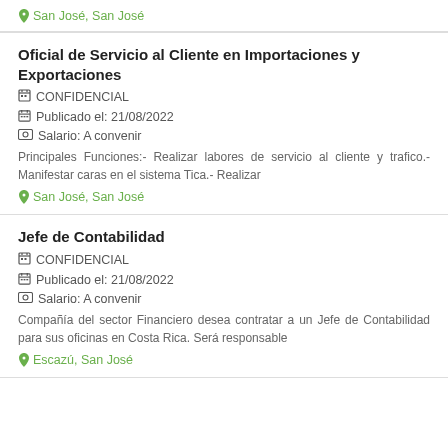San José, San José
Oficial de Servicio al Cliente en Importaciones y Exportaciones
CONFIDENCIAL
Publicado el: 21/08/2022
Salario: A convenir
Principales Funciones:- Realizar labores de servicio al cliente y trafico.- Manifestar caras en el sistema Tica.- Realizar
San José, San José
Jefe de Contabilidad
CONFIDENCIAL
Publicado el: 21/08/2022
Salario: A convenir
Compañía del sector Financiero desea contratar a un Jefe de Contabilidad para sus oficinas en Costa Rica. Será responsable
Escazú, San José